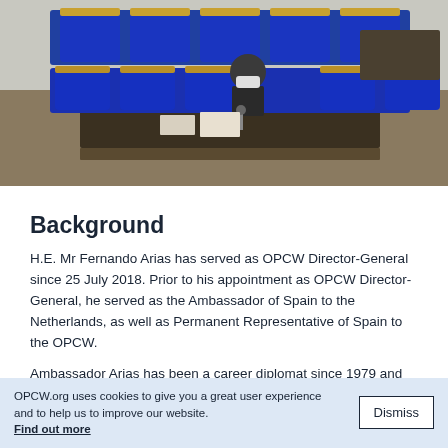[Figure (photo): Conference room with blue chairs and wooden armrests arranged in rows, a person wearing a mask seated at a desk with a microphone, viewed from above/behind]
Background
H.E. Mr Fernando Arias has served as OPCW Director-General since 25 July 2018. Prior to his appointment as OPCW Director-General, he served as the Ambassador of Spain to the Netherlands, as well as Permanent Representative of Spain to the OPCW.
Ambassador Arias has been a career diplomat since 1979 and has extensive multilateral experience with
OPCW.org uses cookies to give you a great user experience and to help us to improve our website. Find out more